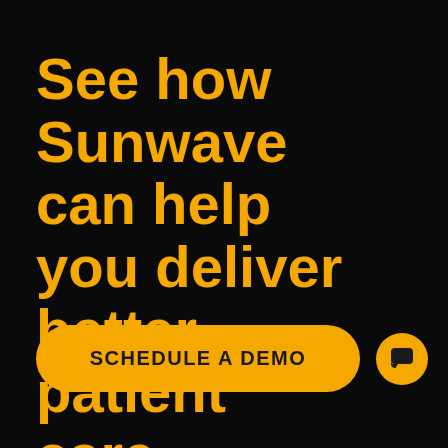See how Sunwave can help you deliver better patient care...
[Figure (other): Orange rounded rectangle button with text 'SCHEDULE A DEMO' and a circular orange chat icon button to the right, both on black background]